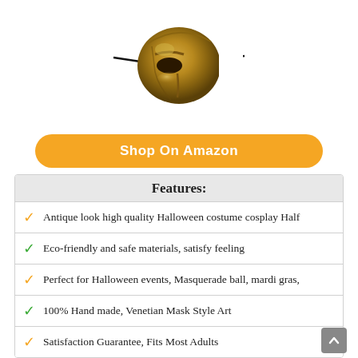[Figure (photo): Gold/antique colored half-face masquerade mask (Phantom of the Opera style) on white background]
Shop On Amazon
Features:
Antique look high quality Halloween costume cosplay Half
Eco-friendly and safe materials, satisfy feeling
Perfect for Halloween events, Masquerade ball, mardi gras,
100% Hand made, Venetian Mask Style Art
Satisfaction Guarantee, Fits Most Adults
See also  Best #10 – Glasses Case Based On